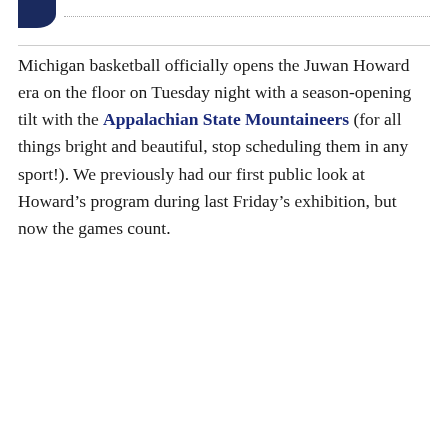[Michigan logo partial] [dotted rule]
Michigan basketball officially opens the Juwan Howard era on the floor on Tuesday night with a season-opening tilt with the Appalachian State Mountaineers (for all things bright and beautiful, stop scheduling them in any sport!). We previously had our first public look at Howard’s program during last Friday’s exhibition, but now the games count.